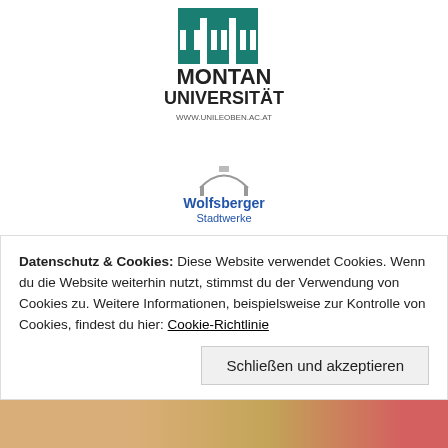[Figure (logo): Montanuniversität logo with teal pillars icon and text MONTAN UNIVERSITÄT www.unileoben.ac.at]
[Figure (logo): Wolfsberger Stadtwerke logo]
[Figure (logo): UniversitätsSpital Zürich / Klinik für Kardiologie logo]
[Figure (logo): nanocomp technologies, inc. logo]
[Figure (logo): miracle technologies. Innovation Through Research logo]
[Figure (logo): Raiffeisen CLUB logo - yellow and blue]
Datenschutz & Cookies: Diese Website verwendet Cookies. Wenn du die Website weiterhin nutzt, stimmst du der Verwendung von Cookies zu. Weitere Informationen, beispielsweise zur Kontrolle von Cookies, findest du hier: Cookie-Richtlinie
Schließen und akzeptieren